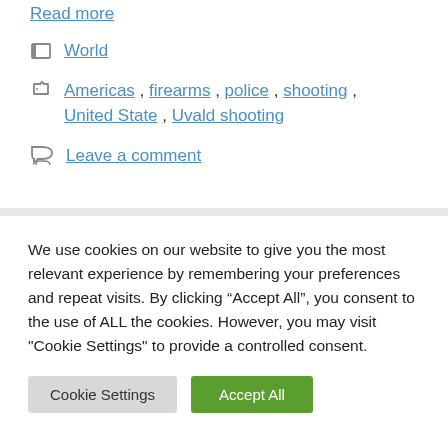Read more
World
Americas , firearms , police , shooting , United State , Uvald shooting
Leave a comment
We use cookies on our website to give you the most relevant experience by remembering your preferences and repeat visits. By clicking “Accept All”, you consent to the use of ALL the cookies. However, you may visit "Cookie Settings" to provide a controlled consent.
Cookie Settings
Accept All